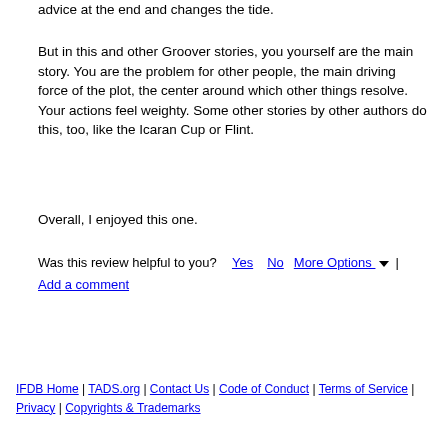advice at the end and changes the tide.
But in this and other Groover stories, you yourself are the main story. You are the problem for other people, the main driving force of the plot, the center around which other things resolve. Your actions feel weighty. Some other stories by other authors do this, too, like the Icaran Cup or Flint.
Overall, I enjoyed this one.
Was this review helpful to you?  Yes  No  More Options ▼ | Add a comment
IFDB Home | TADS.org | Contact Us | Code of Conduct | Terms of Service | Privacy | Copyrights & Trademarks